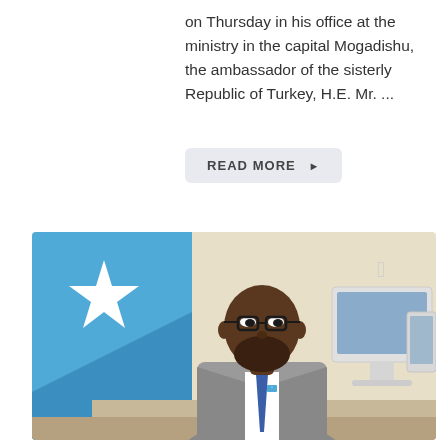on Thursday in his office at the ministry in the capital Mogadishu, the ambassador of the sisterly Republic of Turkey, H.E. Mr. ...
READ MORE ▶
[Figure (photo): A man in a grey suit and blue tie wearing glasses sits at a desk in front of an Apple iMac computer. Behind him is the Somali flag (blue with a white star). The setting appears to be a government ministry office.]